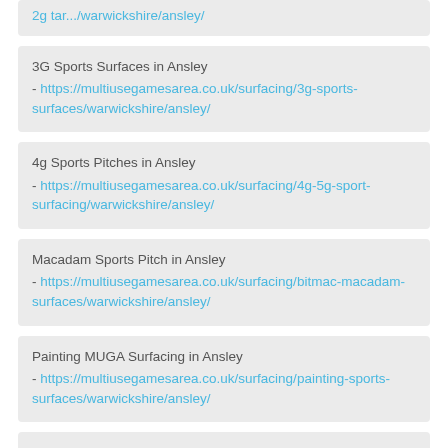2g ... https://multiusegamesarea.co.uk/surfacing/.../ansley/
3G Sports Surfaces in Ansley - https://multiusegamesarea.co.uk/surfacing/3g-sports-surfaces/warwickshire/ansley/
4g Sports Pitches in Ansley - https://multiusegamesarea.co.uk/surfacing/4g-5g-sport-surfacing/warwickshire/ansley/
Macadam Sports Pitch in Ansley - https://multiusegamesarea.co.uk/surfacing/bitmac-macadam-surfaces/warwickshire/ansley/
Painting MUGA Surfacing in Ansley - https://multiusegamesarea.co.uk/surfacing/painting-sports-surfaces/warwickshire/ansley/
Multisport Synthetic MUGA Surfacing in Ansley